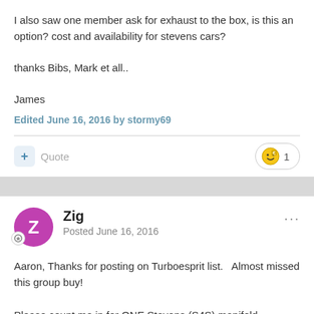I also saw one member ask for exhaust to the box, is this an option? cost and availability for stevens cars?

thanks Bibs, Mark et all..

James
Edited June 16, 2016 by stormy69
Zig
Posted June 16, 2016
Aaron, Thanks for posting on Turboesprit list.  Almost missed this group buy!

Please count me in for ONE Stevens (S4S) manifold.

Just wondering what type of Stainless Steel the CNC flanges are